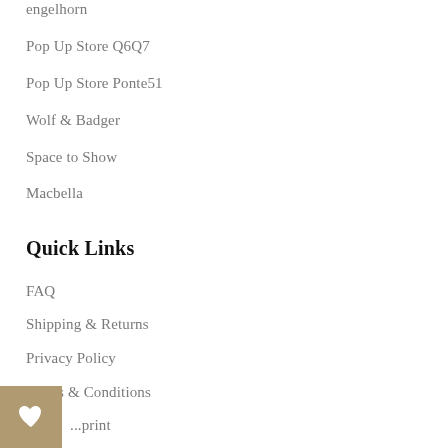engelhorn
Pop Up Store Q6Q7
Pop Up Store Ponte51
Wolf & Badger
Space to Show
Macbella
Quick Links
FAQ
Shipping & Returns
Privacy Policy
Terms & Conditions
...print